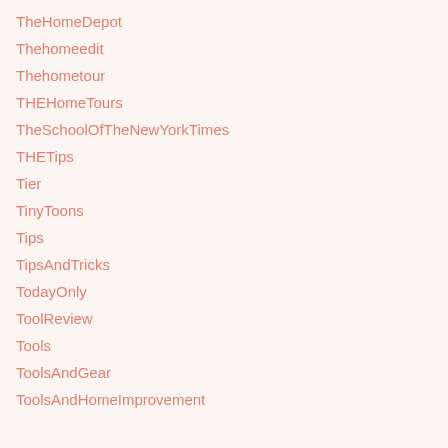TheHomeDepot
Thehomeedit
Thehometour
THEHomeTours
TheSchoolOfTheNewYorkTimes
THETips
Tier
TinyToons
Tips
TipsAndTricks
TodayOnly
ToolReview
Tools
ToolsAndGear
ToolsAndHomeImprovement